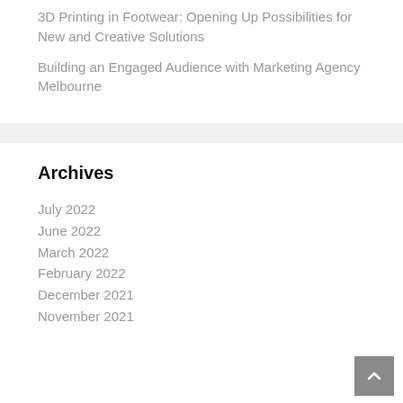3D Printing in Footwear: Opening Up Possibilities for New and Creative Solutions
Building an Engaged Audience with Marketing Agency Melbourne
Archives
July 2022
June 2022
March 2022
February 2022
December 2021
November 2021